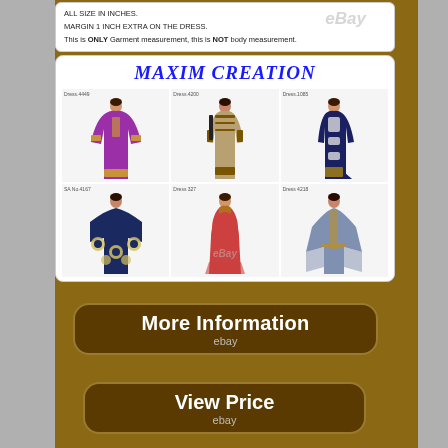ALL SIZE IN INCHES.
MARGIN 1 INCH EXTRA ON THE DRESS.
This is ONLY Garment measurement, this is NOT body measurement.
[Figure (photo): Maxim Creation brand catalog showing 6 models wearing ornate embroidered kaftans/abayas in various colors: purple, beige/gold, dark navy, navy with circular embroidery, red/salmon, and blue-grey. Each garment labeled with a style number.]
More Information
ebay
View Price
ebay